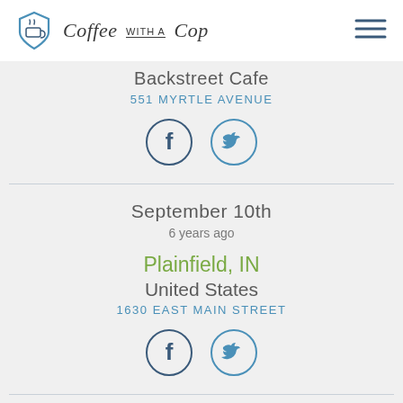Coffee with a Cop
Backstreet Cafe
551 MYRTLE AVENUE
[Figure (other): Facebook and Twitter social share icons (circles with f and bird icons)]
September 10th
6 years ago
Plainfield, IN
United States
1630 EAST MAIN STREET
[Figure (other): Facebook and Twitter social share icons (circles with f and bird icons)]
February 15th